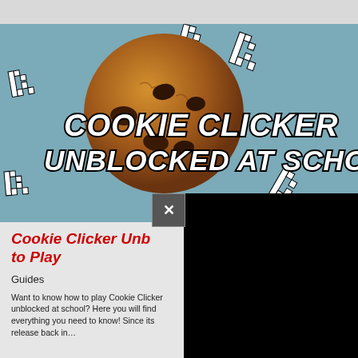[Figure (screenshot): Cookie Clicker Unblocked at School promotional image showing a chocolate chip cookie with pixel cursor arrows around it on a blue background, with bold white italic text reading COOKIE CLICKER UNBLOCKED AT SCHOOL]
Cookie Clicker Unblocked – How to Play
Guides
Want to know how to play Cookie Clicker unblocked at school? Here you will find everything you need to know! Since its release back in…